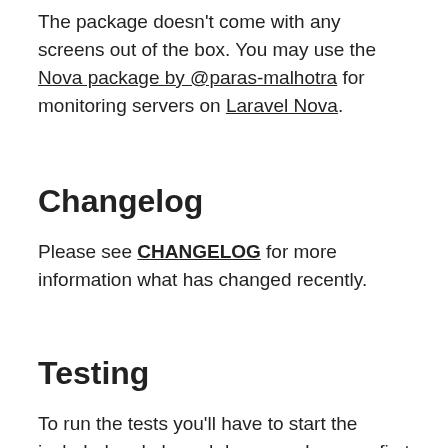The package doesn't come with any screens out of the box. You may use the Nova package by @paras-malhotra for monitoring servers on Laravel Nova.
Changelog
Please see CHANGELOG for more information what has changed recently.
Testing
To run the tests you'll have to start the included node based dummy ssh server first in a separate terminal window.